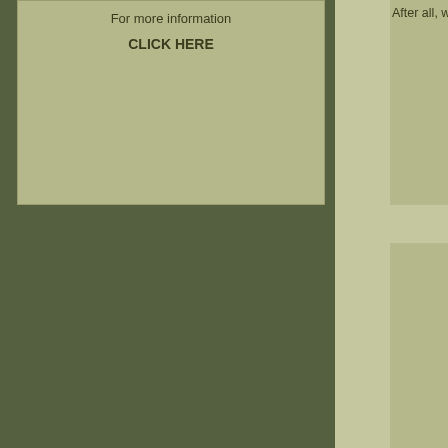[Figure (infographic): A webpage/document layout with a dark olive-green left column, a lighter olive/tan center strip, and partially visible right content area. The top-left contains a lighter olive box with text 'For more information' and 'CLICK HERE'. To the right, partially cut off, is a text panel beginning with 'After all, whatever we pioneer, we need to insp...' followed by two large olive-colored content boxes stacked vertically, and at the bottom a small rounded-corner box.]
For more information
CLICK HERE
After all, whatever we pioneer, we need to insp